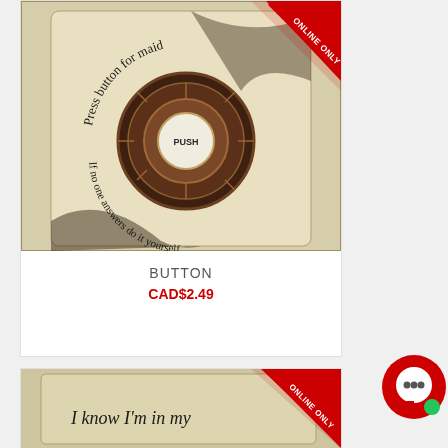[Figure (photo): Decorative stone tile with a circular ornate button in the center and text reading 'Press button for maid, If no one answers do it yourself' with a PUSH label in center. Red ONLINE ONLY banner in top right corner.]
BUTTON
CAD$2.49
[Figure (photo): Partial view of another decorative stone tile with text beginning 'I know I'm in my...' with red ONLINE ONLY banner in top right corner.]